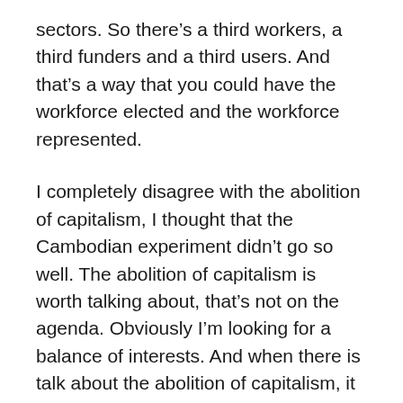sectors. So there's a third workers, a third funders and a third users. And that's a way that you could have the workforce elected and the workforce represented.
I completely disagree with the abolition of capitalism, I thought that the Cambodian experiment didn't go so well. The abolition of capitalism is worth talking about, that's not on the agenda. Obviously I'm looking for a balance of interests. And when there is talk about the abolition of capitalism, it has led pretty consistently to quite nasty kinds of politics. So what you've got to do is domesticate capitalism, constrain capital. This is the failure of '45 to do that. And you've got to do it at source through these regional, sectoral and firm levels.
And so one, a democratic London would be a very significant challenge to the power of capital; second, a